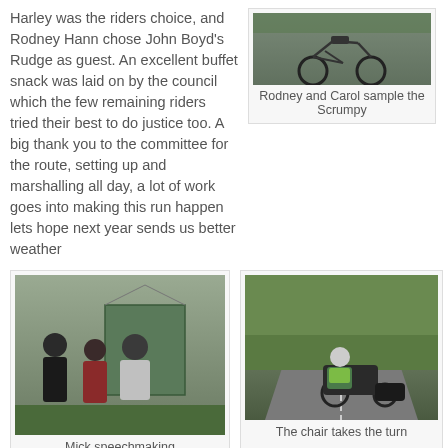Harley was the riders choice, and Rodney Hann chose John Boyd's Rudge as guest. An excellent buffet snack was laid on by the council which the few remaining riders tried their best to do justice too. A big thank you to the committee for the route, setting up and marshalling all day, a lot of work goes into making this run happen lets hope next year sends us better weather
[Figure (photo): A vintage motorcycle parked outdoors on a road with greenery in the background]
Rodney and Carol sample the Scrumpy
[Figure (photo): Mick speechmaking - people standing outside a green tent in a field]
Mick speechmaking
[Figure (photo): A rider on a motorcycle with sidecar taking a turn on a road with hedges]
The chair takes the turn
[Figure (photo): People gathered outside a tent in a field, partial view at bottom of page]